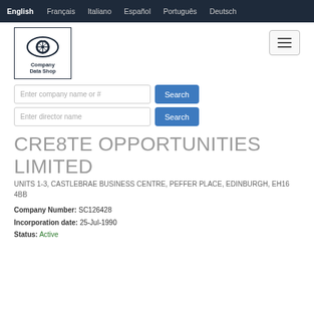English  Français  Italiano  Español  Português  Deutsch
[Figure (logo): Company Data Shop logo — eye with compass rose inside, bordered box with text 'Company Data Shop']
Enter company name or #
Enter director name
CRE8TE OPPORTUNITIES LIMITED
UNITS 1-3, CASTLEBRAE BUSINESS CENTRE, PEFFER PLACE, EDINBURGH, EH16 4BB
Company Number: SC126428
Incorporation date: 25-Jul-1990
Status: Active